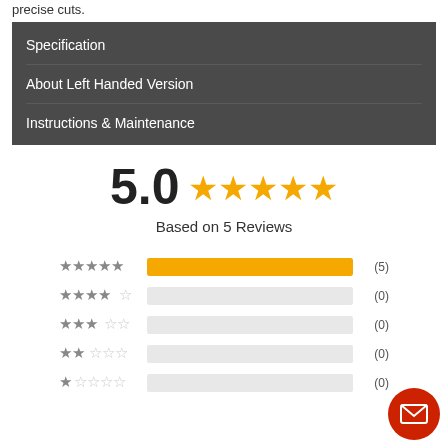precise cuts.
Specification
About Left Handed Version
Instructions & Maintenance
5.0 ★★★★★ Based on 5 Reviews
[Figure (infographic): Star rating breakdown: 5-star (5), 4-star (0), 3-star (0), 2-star (0), 1-star (0)]